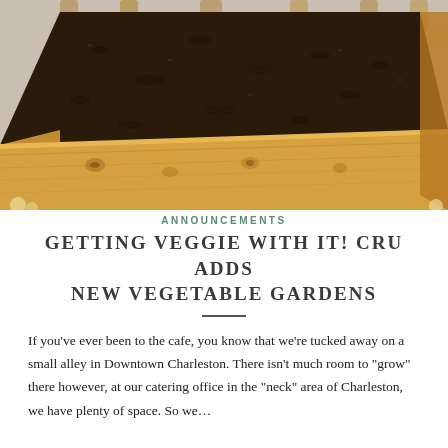[Figure (photo): A raised wooden garden bed filled with dark potting soil, viewed from an angle. Cedar wood planks form the frame. Background shows a wooden fence.]
ANNOUNCEMENTS
GETTING VEGGIE WITH IT! CRU ADDS NEW VEGETABLE GARDENS
If you've ever been to the cafe, you know that we're tucked away on a small alley in Downtown Charleston. There isn't much room to "grow" there however, at our catering office in the "neck" area of Charleston, we have plenty of space. So we…